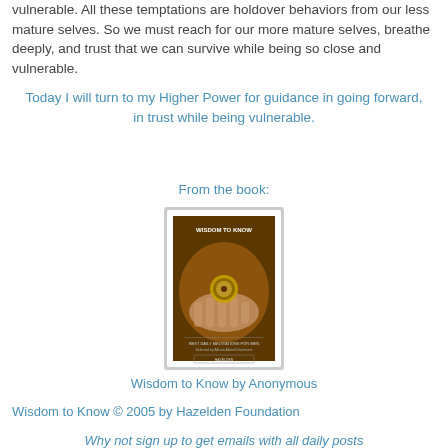vulnerable. All these temptations are holdover behaviors from our less mature selves. So we must reach for our more mature selves, breathe deeply, and trust that we can survive while being so close and vulnerable.
Today I will turn to my Higher Power for guidance in going forward, in trust while being vulnerable.
From the book:
[Figure (photo): Book cover of 'Wisdom to Know' showing a hand holding a compass against a dark background, published by Hazelden]
Wisdom to Know by Anonymous
Wisdom to Know © 2005 by Hazelden Foundation
Why not sign up to get emails with all daily posts